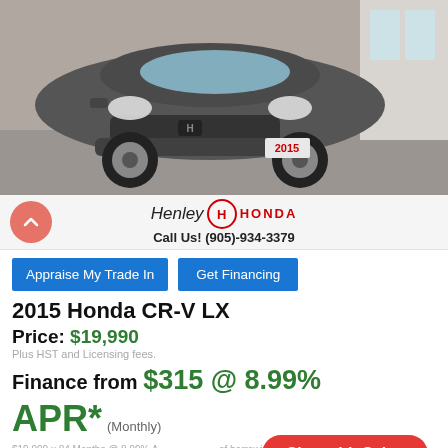[Figure (photo): Front view of a 2015 Honda CR-V LX in grey/dark colour parked in a dealership lot. A 2015 licence plate is visible on the front bumper.]
Henley Honda
Call Us! (905)-934-3379
Appraise My Trade In
Get Financing
2015 Honda CR-V LX
Price: $19,990
Plus HST and Licensing fees.
Finance from $315 @ 8.99%
APR* (Monthly)
$19,990 x 84 Months @ 8.99% A... of borrowing $5,785). 15.00% down payment. Taxes included...
Chat with Sales